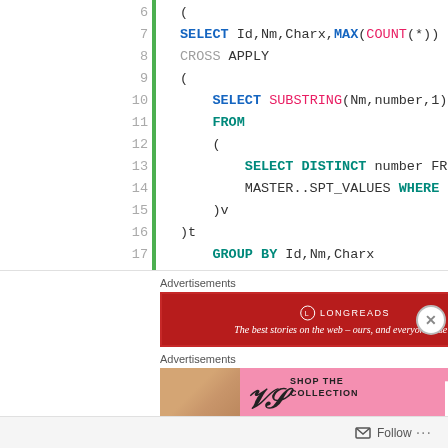[Figure (screenshot): SQL code snippet showing lines 6-20 with syntax highlighting. Blue keywords: SELECT, FROM, GROUP BY, WHERE, DISTINCT. Pink keywords: COUNT, SUBSTRING. Gray keyword: CROSS. Code includes nested SELECT statements with CROSS APPLY, MASTER..SPT_VALUES, GROUP BY clause. A green vertical bar separates line numbers from code. Line 20 shows a gray comment '--'.]
Advertisements
[Figure (photo): Longreads advertisement banner - dark red background with logo and text 'The best stories on the web - ours, and everyone else's.']
Advertisements
[Figure (photo): Victoria's Secret advertisement - pink background with model photo, VS logo, text 'SHOP THE COLLECTION' and 'SHOP NOW' button.]
Follow ...